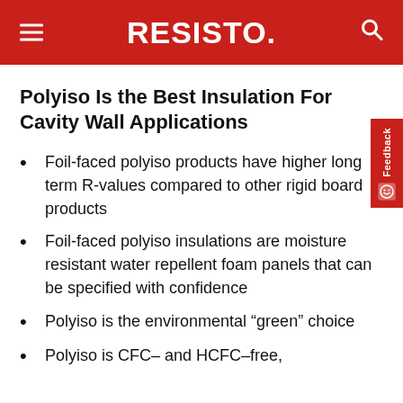RESISTO.
Polyiso Is the Best Insulation For Cavity Wall Applications
Foil-faced polyiso products have higher long term R-values compared to other rigid board products
Foil-faced polyiso insulations are moisture resistant water repellent foam panels that can be specified with confidence
Polyiso is the environmental “green” choice
Polyiso is CFC– and HCFC–free,